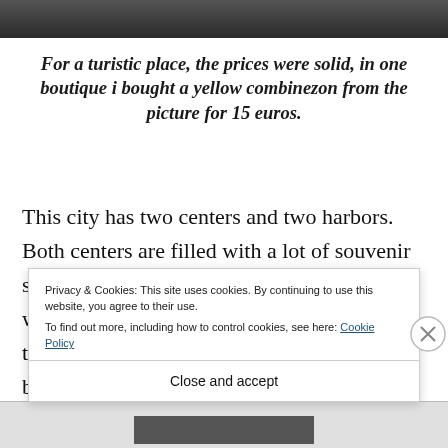[Figure (photo): Dark photograph strip at top of page]
For a turistic place, the prices were solid, in one boutique i bought a yellow combinezon from the picture for 15 euros.
This city has two centers and two harbors. Both centers are filled with a lot of souvenir shops and cafes and restaurants. The waiters where outside the restaurants and they were trying to attract customers, which later on became a little b... b...
Privacy & Cookies: This site uses cookies. By continuing to use this website, you agree to their use.
To find out more, including how to control cookies, see here: Cookie Policy
Close and accept